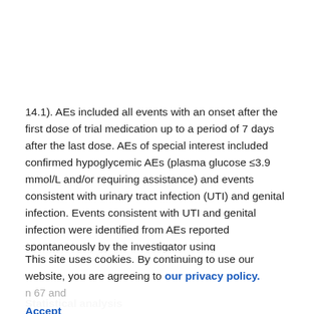14.1). AEs included all events with an onset after the first dose of trial medication up to a period of 7 days after the last dose. AEs of special interest included confirmed hypoglycemic AEs (plasma glucose ≤3.9 mmol/L and/or requiring assistance) and events consistent with urinary tract infection (UTI) and genital infection. Events consistent with UTI and genital infection were identified from AEs reported spontaneously by the investigator using
This site uses cookies. By continuing to use our website, you are agreeing to our privacy policy. Accept
Statistical analysis